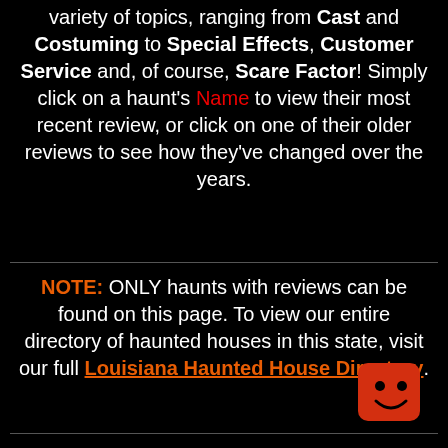variety of topics, ranging from Cast and Costuming to Special Effects, Customer Service and, of course, Scare Factor! Simply click on a haunt's Name to view their most recent review, or click on one of their older reviews to see how they've changed over the years.
NOTE: ONLY haunts with reviews can be found on this page. To view our entire directory of haunted houses in this state, visit our full Louisiana Haunted House Directory.
[Figure (illustration): Red cartoon mascot face with smile and small horns at bottom right corner]